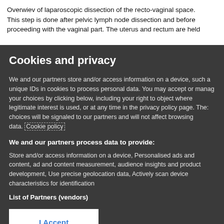Overwiev of laparoscopic dissection of the recto-vaginal space. This step is done after pelvic lymph node dissection and before proceeding with the vaginal part. The uterus and rectum are held
Cookies and privacy
We and our partners store and/or access information on a device, such as unique IDs in cookies to process personal data. You may accept or manage your choices by clicking below, including your right to object where legitimate interest is used, or at any time in the privacy policy page. These choices will be signaled to our partners and will not affect browsing data. Cookie policy
We and our partners process data to provide:
Store and/or access information on a device, Personalised ads and content, ad and content measurement, audience insights and product development, Use precise geolocation data, Actively scan device characteristics for identification
List of Partners (vendors)
I Accept